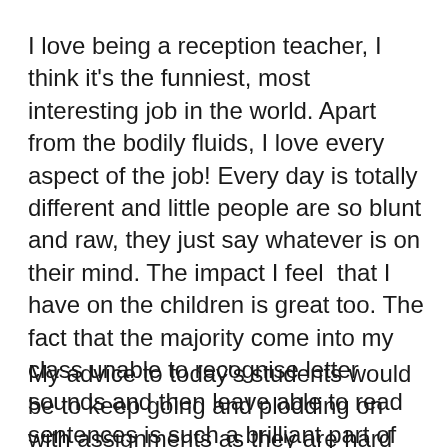I love being a reception teacher, I think it's the funniest, most interesting job in the world. Apart from the bodily fluids, I love every aspect of the job! Every day is totally different and little people are so blunt and raw, they just say whatever is on their mind. The impact I feel that I have on the children is great too. The fact that the majority come into my class unable to recognise letter sounds and then leave able to read sentences is such a brilliant part of my job.
My advice to today's students would be to keep going and plodding on with assignments as they are hard but are worth